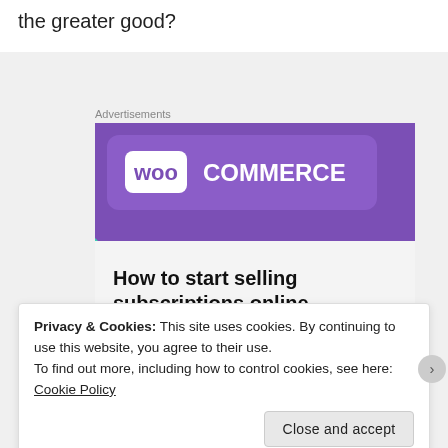the greater good?
Advertisements
[Figure (screenshot): WooCommerce advertisement banner showing the WooCommerce logo on a purple background with teal and cyan geometric shapes, and text 'How to start selling subscriptions online' with a purple button partially visible.]
Privacy & Cookies: This site uses cookies. By continuing to use this website, you agree to their use.
To find out more, including how to control cookies, see here: Cookie Policy
Close and accept